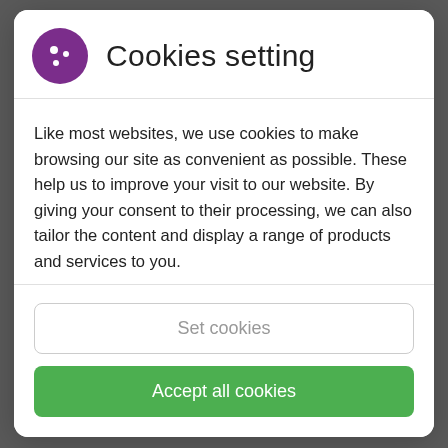[Figure (screenshot): Cookie consent modal dialog with purple cookie icon, title 'Cookies setting', descriptive text, 'Set cookies' outlined button, and 'Accept all cookies' green button]
Cookies setting
Like most websites, we use cookies to make browsing our site as convenient as possible. These help us to improve your visit to our website. By giving your consent to their processing, we can also tailor the content and display a range of products and services to you.
Set cookies
Accept all cookies
→ Výkon kotle 40 kW